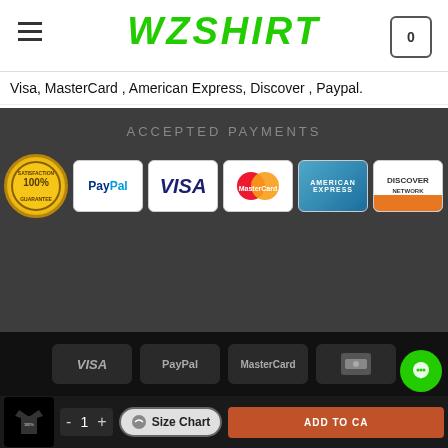WZSHIRT
Visa, MasterCard , American Express, Discover , Paypal.
[Figure (infographic): Accepted Payments section showing payment method logos: 100% Satisfaction Guarantee badge, PayPal, VISA, MasterCard, American Express, Discover Network, SSL badge]
[Figure (infographic): Footer payment icons row showing VISA, PayPal, MasterCard, and another payment method in dark grey badges]
ABOUT US   CONTACT   FAQ
© 2021 Wzshirt. All rights reserved.